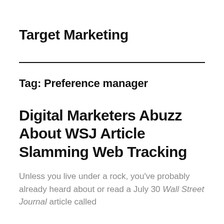Target Marketing
Tag: Preference manager
Digital Marketers Abuzz About WSJ Article Slamming Web Tracking
Unless you live under a rock, you’ve probably already heard about or read a July 30 Wall Street Journal article called